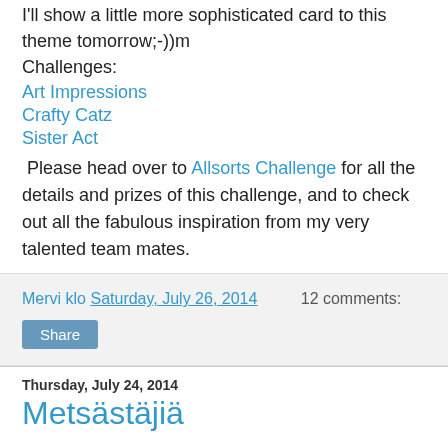I'll show a little more sophisticated card to this theme tomorrow;-))m
Challenges:
Art Impressions
Crafty Catz
Sister Act
Please head over to Allsorts Challenge for all the details and prizes of this challenge, and to check out all the fabulous inspiration from my very talented team mates.
Mervi klo Saturday, July 26, 2014    12 comments:
Share
Thursday, July 24, 2014
Metsästäjiä
Heippa vaan ja hellettä riittää, saatiin sentään ihan vähän vettäkin välillä.
Kortteja metsämiehille synttärijuhliin. ( Olen lauantaina maalaismarkkinoilla, jos vaikka menisi kaupaksi.) Pohjalla